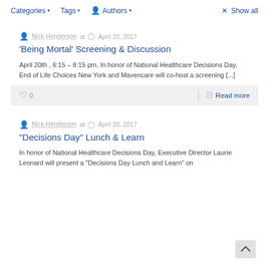Categories ▾   Tags ▾   Authors ▾   × Show all
Nick Henderson at   April 20, 2017
'Being Mortal' Screening & Discussion
April 20th , 6:15 – 8:15 pm, In honor of National Healthcare Decisions Day, End of Life Choices New York and Mavencare will co-host a screening [...]
♡ 0   Read more
Nick Henderson at   April 20, 2017
"Decisions Day" Lunch & Learn
In honor of National Healthcare Decisions Day, Executive Director Laurie Leonard will present a "Decisions Day Lunch and Learn" on